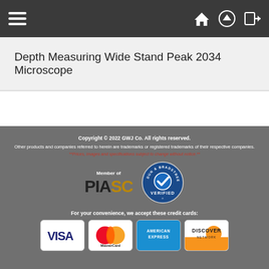Navigation bar with hamburger menu and icons
Depth Measuring Wide Stand Peak 2034 Microscope
Copyright © 2022 GWJ Co. All rights reserved. Other products and companies referred to herein are trademarks or registered trademarks of their respective companies. **Prices, images and specifications subject to change without notice.** Member of PIASC. Dun & Bradstreet Verified. For your convenience, we accept these credit cards: VISA, MasterCard, American Express, Discover